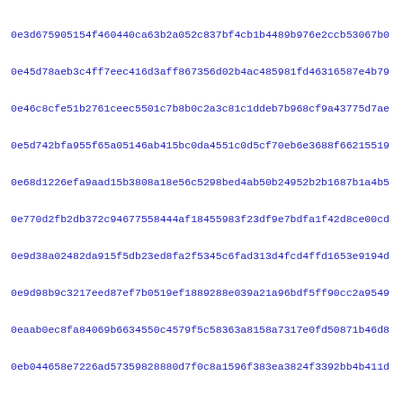0e3d675905154f460440ca63b2a052c837bf4cb1b4489b976e2ccb53067b0
0e45d78aeb3c4ff7eec416d3aff867356d02b4ac485981fd46316587e4b79
0e46c8cfe51b2761ceec5501c7b8b0c2a3c81c1ddeb7b968cf9a43775d7ae
0e5d742bfa955f65a05146ab415bc0da4551c0d5cf70eb6e3688f66215519
0e68d1226efa9aad15b3808a18e56c5298bed4ab50b24952b2b1687b1a4b5
0e770d2fb2db372c94677558444af18455983f23df9e7bdfa1f42d8ce00cd
0e9d38a02482da915f5db23ed8fa2f5345c6fad313d4fcd4ffd1653e9194d
0e9d98b9c3217eed87ef7b0519ef1889288e039a21a96bdf5ff90cc2a9549
0eaab0ec8fa84069b6634550c4579f5c58363a8158a7317e0fd50871b46d8
0eb044658e7226ad57359828880d7f0c8a1596f383ea3824f3392bb4b411d